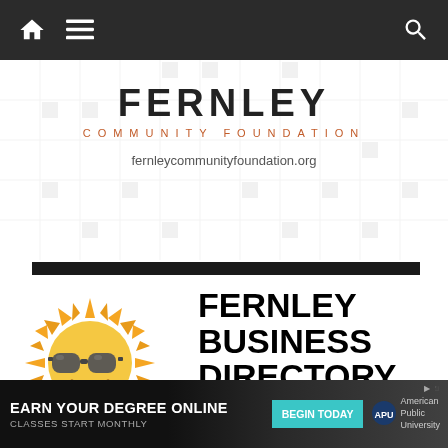Navigation bar with home, menu, and search icons
[Figure (logo): Fernley Community Foundation logo with grid background pattern and URL fernleycommunityfoundation.org]
[Figure (illustration): Sun emoji with sunglasses illustration next to Fernley Business Directory title]
FERNLEY BUSINESS DIRECTORY
The place to find local goods and services Our listings are your neighbors and friends. Being spread out over miles it's hard sometimes to find what you're looking for or that perfect client. Now you can!
[Figure (infographic): Bottom advertisement bar: EARN YOUR DEGREE ONLINE - CLASSES START MONTHLY - BEGIN TODAY button - American Public University (APU) logo]